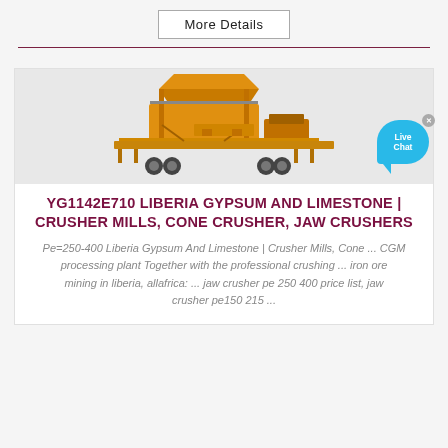More Details
[Figure (photo): Mobile crusher machine — a large yellow industrial crushing and screening plant mounted on a flatbed trailer with wheels, shown from the side.]
YG1142E710 LIBERIA GYPSUM AND LIMESTONE | CRUSHER MILLS, CONE CRUSHER, JAW CRUSHERS
Pe=250-400 Liberia Gypsum And Limestone | Crusher Mills, Cone ... CGM processing plant Together with the professional crushing ... iron ore mining in liberia, allafrica: ... jaw crusher pe 250 400 price list, jaw crusher pe150 215 ...